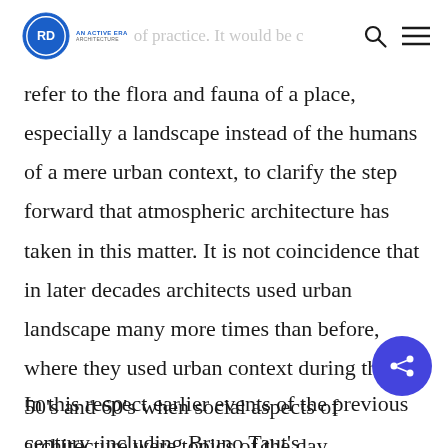of practice. It would be c...
refer to the flora and fauna of a place, especially a landscape instead of the humans of a mere urban context, to clarify the step forward that atmospheric architecture has taken in this matter. It is not coincidence that in later decades architects used urban landscape many more times than before, where they used urban context during the 50's and 60's when social aspects of architecture were topics of the day.
In this respect earlier events of the previous century, including Bruno Taut's